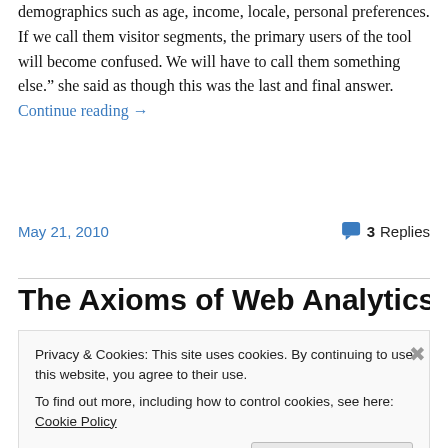demographics such as age, income, locale, personal preferences. If we call them visitor segments, the primary users of the tool will become confused. We will have to call them something else.” she said as though this was the last and final answer. Continue reading →
May 21, 2010
3 Replies
The Axioms of Web Analytics
Privacy & Cookies: This site uses cookies. By continuing to use this website, you agree to their use.
To find out more, including how to control cookies, see here: Cookie Policy